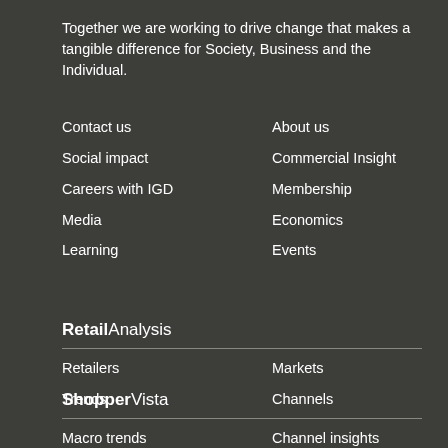Together we are working to drive change that makes a tangible difference for Society, Business and the Individual.
Contact us
About us
Social impact
Commercial Insight
Careers with IGD
Membership
Media
Economics
Learning
Events
RetailAnalysis
Retailers
Markets
Trends
Channels
ShopperVista
Macro trends
Channel insights
Shopper trends
Category insights